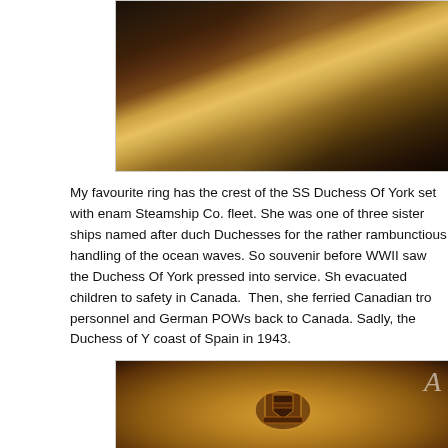[Figure (photo): Close-up photograph of a gold/bronze ring showing metallic surface with reddish and golden tones, top portion visible]
My favourite ring has the crest of the SS Duchess Of York set with enam Steamship Co. fleet. She was one of three sister ships named after duc Duchesses for the rather rambunctious handling of the ocean waves. So souvenir before WWII saw the Duchess Of York pressed into service. Sh evacuated children to safety in Canada. Then, she ferried Canadian tro personnel and German POWs back to Canada. Sadly, the Duchess of Y coast of Spain in 1943.
[Figure (photo): Close-up photograph of a gold/bronze signet ring showing an embossed heraldic crest design, bottom of page]